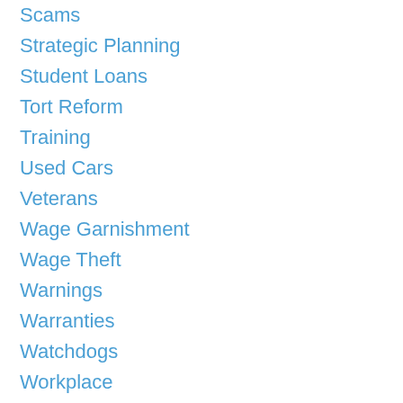Scams
Strategic Planning
Student Loans
Tort Reform
Training
Used Cars
Veterans
Wage Garnishment
Wage Theft
Warnings
Warranties
Watchdogs
Workplace
Archives
July 2022
June 2022
May 2022
April 2022
March 2022
February 2022